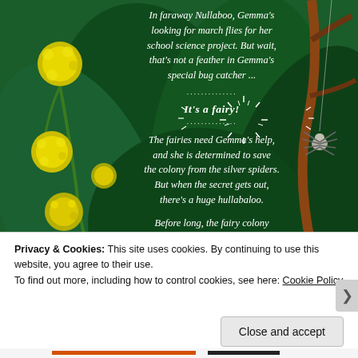[Figure (illustration): Book cover illustration showing lush green foliage with yellow wattle flowers on the left, large dark green leaves in the center and right, a spider on the right side, and white story text overlaid on the illustration. Set in Nullaboo, featuring fairies and a girl named Gemma.]
In faraway Nullaboo, Gemma's looking for march flies for her school science project. But wait, that's not a feather in Gemma's special bug catcher ...
It's a fairy!
The fairies need Gemma's help, and she is determined to save the colony from the silver spiders. But when the secret gets out, there's a huge hullabaloo.
Before long, the fairy colony is under threat from something bigger and more evil. Only Gemma can put things right.
Privacy & Cookies: This site uses cookies. By continuing to use this website, you agree to their use.
To find out more, including how to control cookies, see here: Cookie Policy
Close and accept